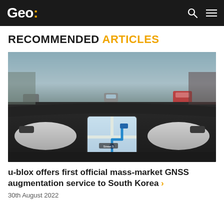Geo:
RECOMMENDED ARTICLES
[Figure (photo): Interior view of an autonomous vehicle dashboard showing a large navigation screen with a blue route map, with highway traffic visible through the windshield.]
u-blox offers first official mass-market GNSS augmentation service to South Korea
30th August 2022